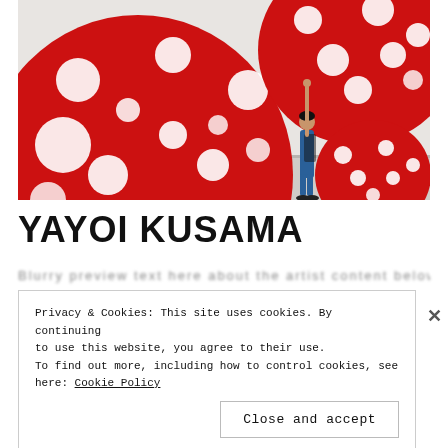[Figure (photo): A person reaching up to touch one of several large red spheres with white polka dots in a gallery space. Three red polka-dotted balls of varying sizes are visible against a white wall and light gray floor — Yayoi Kusama style installation art.]
YAYOI KUSAMA
Privacy & Cookies: This site uses cookies. By continuing to use this website, you agree to their use.
To find out more, including how to control cookies, see here: Cookie Policy
Close and accept